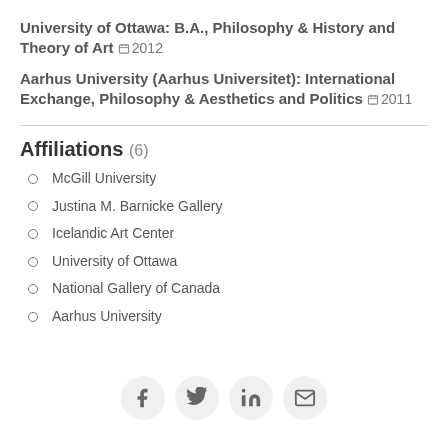University of Ottawa: B.A., Philosophy & History and Theory of Art 2012
Aarhus University (Aarhus Universitet): International Exchange, Philosophy & Aesthetics and Politics 2011
Affiliations (6)
McGill University
Justina M. Barnicke Gallery
Icelandic Art Center
University of Ottawa
National Gallery of Canada
Aarhus University